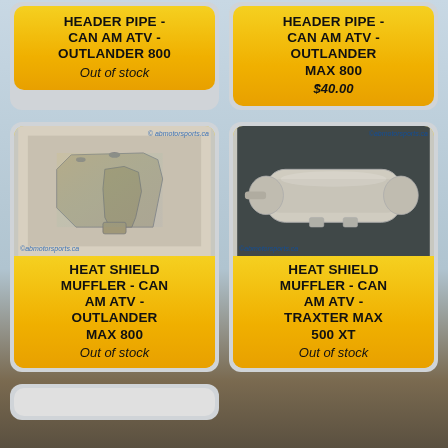HEADER PIPE - CAN AM ATV - OUTLANDER 800
Out of stock
HEADER PIPE - CAN AM ATV - OUTLANDER MAX 800
$40.00
[Figure (photo): Metal heat shield muffler part for Can-Am ATV, iridescent/oxidized finish, on white background. Watermark: abmotorsports.ca]
HEAT SHIELD MUFFLER - CAN AM ATV - OUTLANDER MAX 800
Out of stock
[Figure (photo): Oval cylindrical muffler heat shield for Can-Am ATV, beige/tan color, on dark background. Watermark: abmotorsports.ca]
HEAT SHIELD MUFFLER - CAN AM ATV - TRAXTER MAX 500 XT
Out of stock
[Figure (photo): Partial view of another ATV part card at bottom of page, cropped]